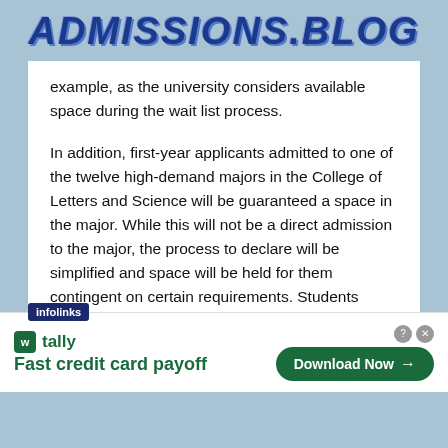ADMISSIONS.BLOG
example, as the university considers available space during the wait list process.
In addition, first-year applicants admitted to one of the twelve high-demand majors in the College of Letters and Science will be guaranteed a space in the major. While this will not be a direct admission to the major, the process to declare will be simplified and space will be held for them contingent on certain requirements. Students interested in a high-demand major are encouraged to apply for it on the application, which gives them the best chance of declaring the major. Students who do not select a high-demand major
[Figure (other): Advertisement banner: Tally app - Fast credit card payoff with Download Now button]